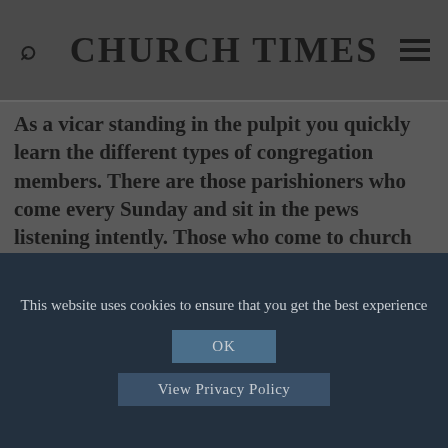CHURCH TIMES
As a vicar standing in the pulpit you quickly learn the different types of congregation members. There are those parishioners who come every Sunday and sit in the pews listening intently. Those who come to church for the community side of things just as much as the Christian faith. Then there are the frazzled parents who, with their kids occupied in Sunday school, use the service as a time for peace and quiet, reflection — and to write that week's shopping list. And then there are the members of the
This website uses cookies to ensure that you get the best experience
OK
View Privacy Policy